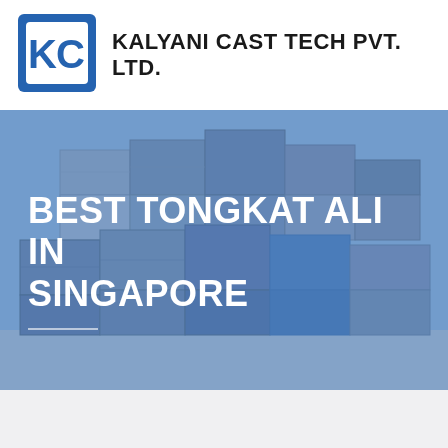[Figure (logo): Kalyani Cast Tech Pvt. Ltd. logo: blue square with white KC letters]
KALYANI CAST TECH PVT. LTD.
[Figure (photo): Background photo of stacked intermodal shipping containers in various colors (blue, beige, rust) with a blue color overlay tint]
BEST TONGKAT ALI IN SINGAPORE